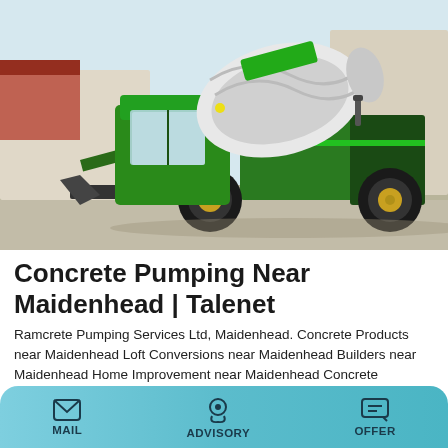[Figure (photo): Green self-loading concrete mixer truck on a construction site with sandy/gravel ground and a pale sky background.]
Concrete Pumping Near Maidenhead | Talenet
Ramcrete Pumping Services Ltd, Maidenhead. Concrete Products near Maidenhead Loft Conversions near Maidenhead Builders near Maidenhead Home Improvement near Maidenhead Concrete Pumping near Maidenhead Building Materials near Maidenhead. Report Incorrect Data . Report Incorrect Data Claim This Business Remove Listing. Share . updated on 10/09/2021 .
MAIL   ADVISORY   OFFER